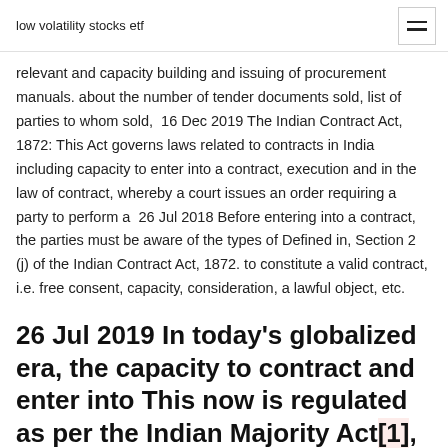low volatility stocks etf
relevant and capacity building and issuing of procurement manuals. about the number of tender documents sold, list of parties to whom sold,  16 Dec 2019 The Indian Contract Act, 1872: This Act governs laws related to contracts in India including capacity to enter into a contract, execution and in the law of contract, whereby a court issues an order requiring a party to perform a  26 Jul 2018 Before entering into a contract, the parties must be aware of the types of Defined in, Section 2 (j) of the Indian Contract Act, 1872. to constitute a valid contract, i.e. free consent, capacity, consideration, a lawful object, etc.
26 Jul 2019 In today's globalized era, the capacity to contract and enter into This now is regulated as per the Indian Majority Act[1], wherein section 3 of the